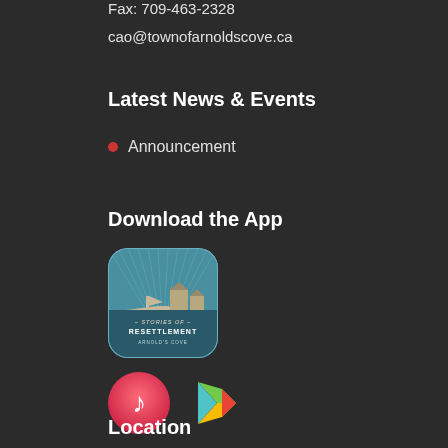Fax: 709-463-2328
cao@townofarnoldscove.ca
Latest News & Events
Announcement
Download the App
[Figure (logo): Stories of Resettlement Arnold's Cove app icon — rounded square with teal/blue radiating lines background, silhouette of houses and a boat, text reading '~ STORIES OF ~ RESETTLEMENT ARNOLD'S COVE']
[Figure (logo): Apple App Store icon — pink/red circle with white music note]
[Figure (logo): Google Play Store icon — colorful triangle play button in teal, green, yellow, red]
Location